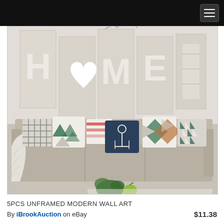[Figure (photo): Product listing screenshot from eBay showing a 5-piece unframed modern wall art set with the word HOME spelled out on canvas panels displayed above a beige sofa with decorative pillows in a living room setting]
5PCS UNFRAMED MODERN WALL ART
By iBrookAuction on eBay   $11.38